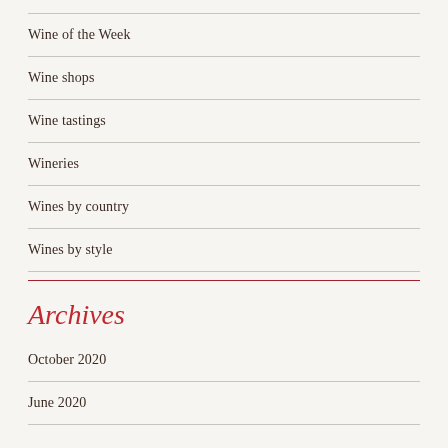Wine of the Week
Wine shops
Wine tastings
Wineries
Wines by country
Wines by style
Archives
October 2020
June 2020